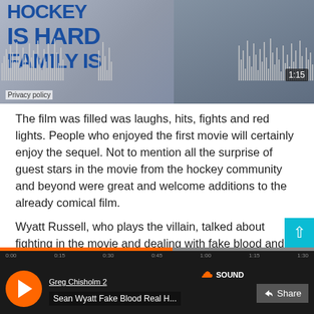[Figure (screenshot): SoundCloud audio player embed showing a hockey movie poster with waveform visualization and timestamp 1:15. Text reads 'HOCKEY IS HARD FAMILY IS...' in bold blue letters. Shows Privacy policy link at bottom left.]
The film was filled was laughs, hits, fights and red lights. People who enjoyed the first movie will certainly enjoy the sequel. Not to mention all the surprise of guest stars in the movie from the hockey community and beyond were great and welcome additions to the already comical film.
Wyatt Russell, who plays the villain, talked about fighting in the movie and dealing with fake blood and his actual hockey career before he got into acting.
[Figure (screenshot): SoundCloud player embed with orange progress bar, play button, showing 'Greg Chisholm 2' as user and track 'Sean Wyatt Fake Blood Real H...' with Share button. SoundCloud logo visible top right.]